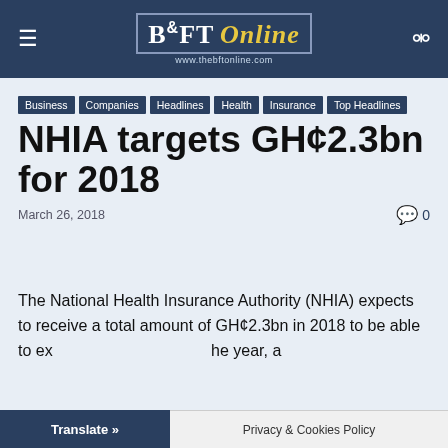B&FT Online — www.thebftonline.com
Business
Companies
Headlines
Health
Insurance
Top Headlines
NHIA targets GH¢2.3bn for 2018
March 26, 2018
0
The National Health Insurance Authority (NHIA) expects to receive a total amount of GH¢2.3bn in 2018 to be able to execute its mandate for the year, a
Translate »
Privacy & Cookies Policy